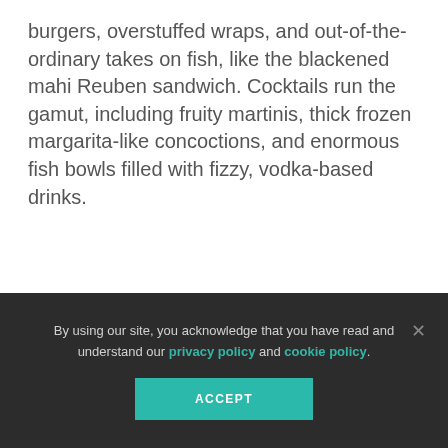burgers, overstuffed wraps, and out-of-the-ordinary takes on fish, like the blackened mahi Reuben sandwich. Cocktails run the gamut, including fruity martinis, thick frozen margarita-like concoctions, and enormous fish bowls filled with fizzy, vodka-based drinks.
MAP
REVIEWS
NEARBY LISTINGS
By using our site, you acknowledge that you have read and understand our privacy policy and cookie policy.
ACCEPT